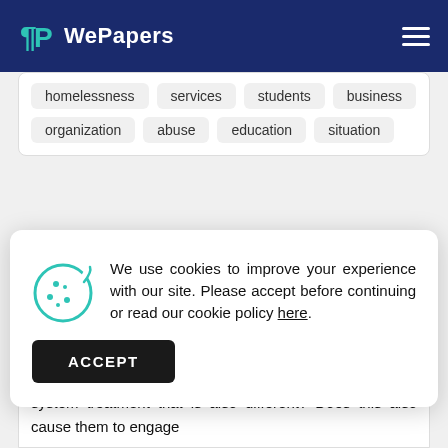WePapers
homelessness
services
students
business
organization
abuse
education
situation
We use cookies to improve your experience with our site. Please accept before continuing or read our cookie policy here.
from their male counterparts and therefore require justice system treatment that is also different? Does this also cause them to engage